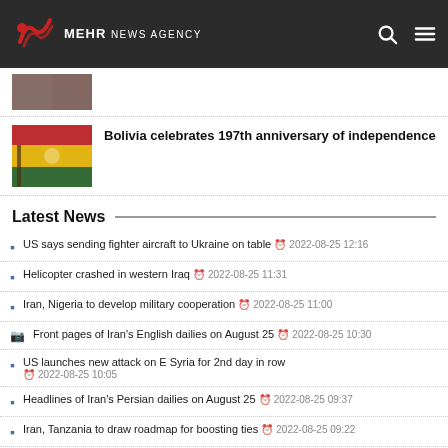MEHR NEWS AGENCY
[Figure (photo): Partial news article thumbnail at top]
[Figure (photo): Bolivia celebration group photo thumbnail]
Bolivia celebrates 197th anniversary of independence
Latest News
US says sending fighter aircraft to Ukraine on table  2022-08-25 12:16
Helicopter crashed in western Iraq  2022-08-25 11:31
Iran, Nigeria to develop military cooperation  2022-08-25 11:00
Front pages of Iran's English dailies on August 25  2022-08-25 10:30
US launches new attack on E Syria for 2nd day in row  2022-08-25 10:05
Headlines of Iran's Persian dailies on August 25  2022-08-25 09:37
Iran, Tanzania to draw roadmap for boosting ties  2022-08-25 09:22